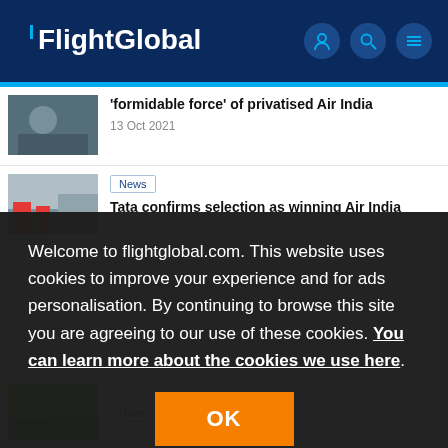FlightGlobal
'formidable force' of privatised Air India
13 Oct 2021
News
Tata confirms selection as winning Air India
Welcome to flightglobal.com. This website uses cookies to improve your experience and for ads personalisation. By continuing to browse this site you are agreeing to our use of these cookies. You can learn more about the cookies we use here.
OK
News